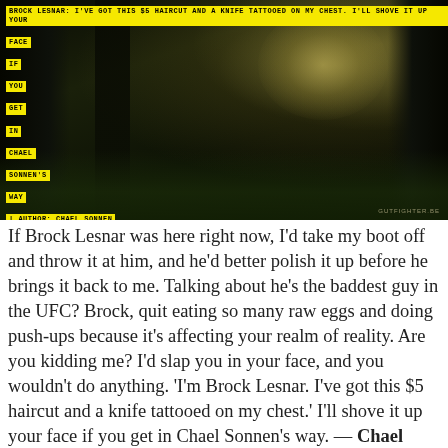[Figure (photo): Dark forest scene with light rays breaking through trees from upper right. Yellow highlighted text overlaid on the image reads: 'BROCK LESNAR: I'VE GOT THIS $5 HAIRCUT AND A KNIFE TATTOOED ON MY CHEST. I'LL SHOVE IT UP YOUR FACE IF YOU GET IN CHAEL SONNEN'S WAY' with author attribution 'AUTHOR: CHAEL SONNEN'. Small watermark 'gutfighter.be' in lower right.]
If Brock Lesnar was here right now, I'd take my boot off and throw it at him, and he'd better polish it up before he brings it back to me. Talking about he's the baddest guy in the UFC? Brock, quit eating so many raw eggs and doing push-ups because it's affecting your realm of reality. Are you kidding me? I'd slap you in your face, and you wouldn't do anything. 'I'm Brock Lesnar. I've got this $5 haircut and a knife tattooed on my chest.' I'll shove it up your face if you get in Chael Sonnen's way. — Chael Sonnen